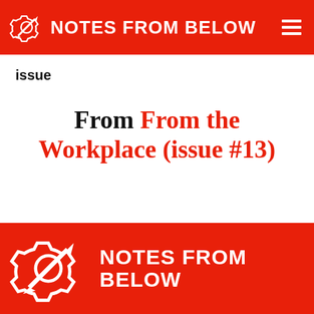NOTES FROM BELOW
issue
From From the Workplace (issue #13)
[Figure (logo): Notes From Below logo — pencil and gear icon with text NOTES FROM BELOW in white on red background, repeated in footer]